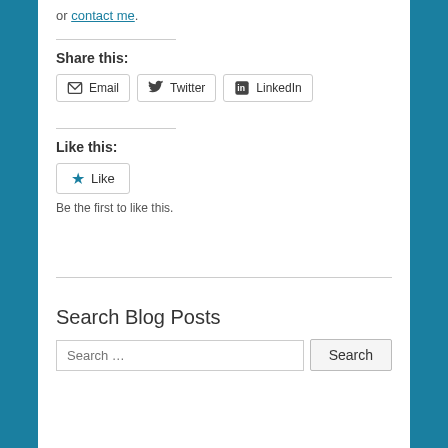or contact me.
Share this:
Email  Twitter  LinkedIn
Like this:
★ Like
Be the first to like this.
Search Blog Posts
Search …  Search